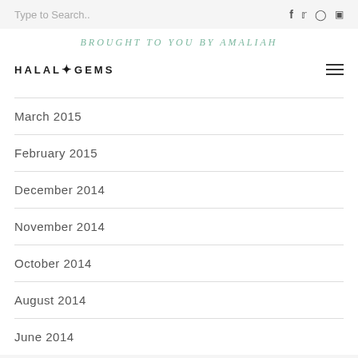Type to Search..
BROUGHT TO YOU BY AMALIAH
[Figure (logo): HALAL GEMS logo with diamond icon]
March 2015
February 2015
December 2014
November 2014
October 2014
August 2014
June 2014